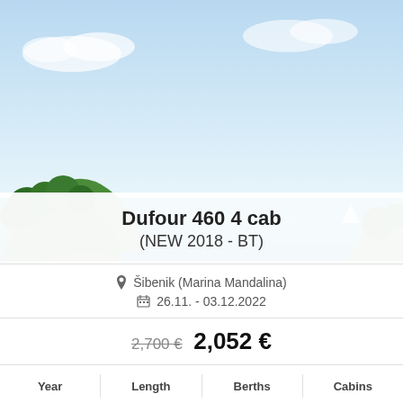[Figure (photo): Scenic Mediterranean coastal photo showing blue sea, green trees/vegetation on a rocky hillside, clear blue sky. Used as background image for a boat charter listing card.]
Dufour 460 4 cab (NEW 2018 - BT)
Šibenik (Marina Mandalina)  26.11. - 03.12.2022
2,700 € 2,052 €
| Year | Length | Berths | Cabins |
| --- | --- | --- | --- |